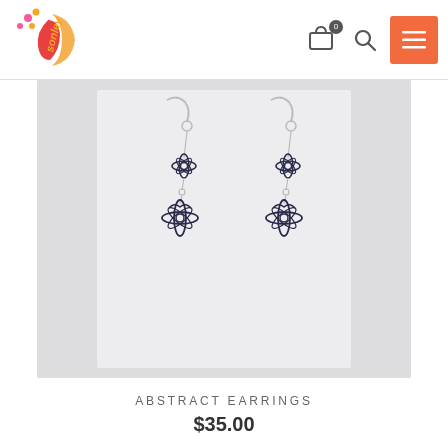[Figure (logo): Sonley brand logo: crescent moon with flowers and face silhouette, orange and pink colors, text 'sonley' in orange]
[Figure (photo): Product photo of abstract dangling earrings on a white/light gray background. Two matching earrings shown side by side, each with a fish-hook wire, chain, and two ornate floral/abstract dark metal charms.]
ABSTRACT EARRINGS
$35.00